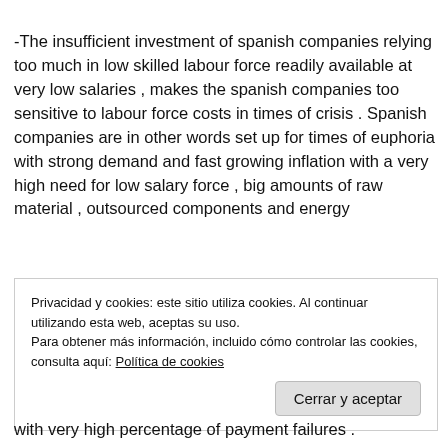-The insufficient investment of spanish companies relying too much in low skilled labour force readily available at very low salaries , makes the spanish companies too sensitive to labour force costs in times of crisis . Spanish companies are in other words set up for times of euphoria with strong demand and fast growing inflation with a very high need for low salary force , big amounts of raw material , outsourced components and energy
Privacidad y cookies: este sitio utiliza cookies. Al continuar utilizando esta web, aceptas su uso. Para obtener más información, incluido cómo controlar las cookies, consulta aquí: Política de cookies | Cerrar y aceptar
with very high percentage of payment failures .